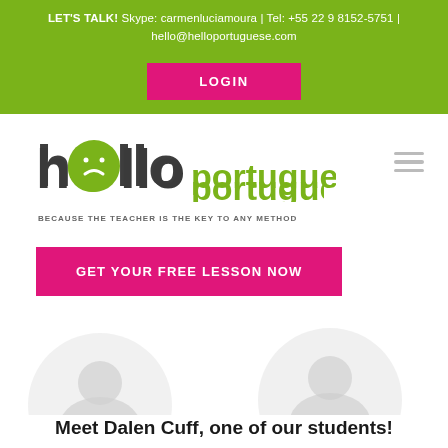LET'S TALK! Skype: carmenluciamoura | Tel: +55 22 9 8152-5751 | hello@helloportuguese.com
[Figure (logo): Hello Portuguese logo with green smiley face replacing 'el' in hello, dark gray text reading 'hello portuguese', tagline: BECAUSE THE TEACHER IS THE KEY TO ANY METHOD]
GET YOUR FREE LESSON NOW
[Figure (photo): Two faded circular student profile photo placeholders]
Meet Dalen Cuff, one of our students!